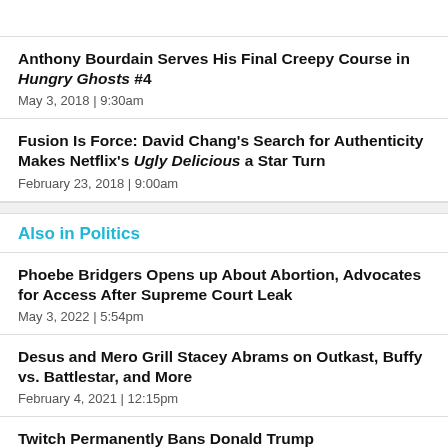Anthony Bourdain Serves His Final Creepy Course in Hungry Ghosts #4
May 3, 2018  |  9:30am
Fusion Is Force: David Chang's Search for Authenticity Makes Netflix's Ugly Delicious a Star Turn
February 23, 2018  |  9:00am
Also in Politics
Phoebe Bridgers Opens up About Abortion, Advocates for Access After Supreme Court Leak
May 3, 2022  |  5:54pm
Desus and Mero Grill Stacey Abrams on Outkast, Buffy vs. Battlestar, and More
February 4, 2021  |  12:15pm
Twitch Permanently Bans Donald Trump
January 21, 2021  |  12:54pm